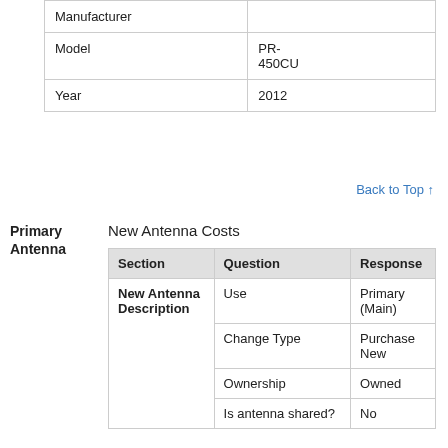|  |  |
| --- | --- |
| Manufacturer |  |
| Model | PR-450CU |
| Year | 2012 |
Back to Top ↑
Primary Antenna
New Antenna Costs
| Section | Question | Response |
| --- | --- | --- |
| New Antenna Description | Use | Primary (Main) |
|  | Change Type | Purchase New |
|  | Ownership | Owned |
|  | Is antenna shared? | No |